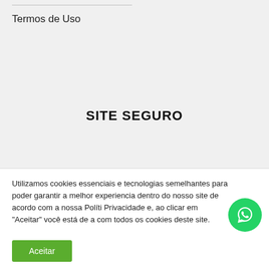Termos de Uso
SITE SEGURO
Utilizamos cookies essenciais e tecnologias semelhantes para poder garantir a melhor experiencia dentro do nosso site de acordo com a nossa Políti Privacidade e, ao clicar em "Aceitar" você está de a com todos os cookies deste site.
Aceitar